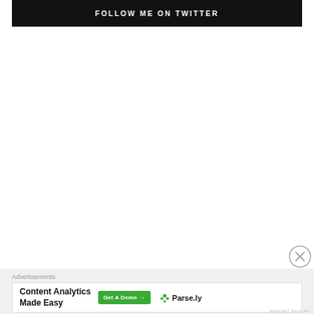[Figure (screenshot): Black banner button with white bold uppercase text 'FOLLOW ME ON TWITTER']
[Figure (other): Close/dismiss button — circle with X symbol]
Advertisements
[Figure (screenshot): Advertisement banner: 'Content Analytics Made Easy' with a green 'Get A Demo →' button and Parse.ly logo]
REPORT THIS AD